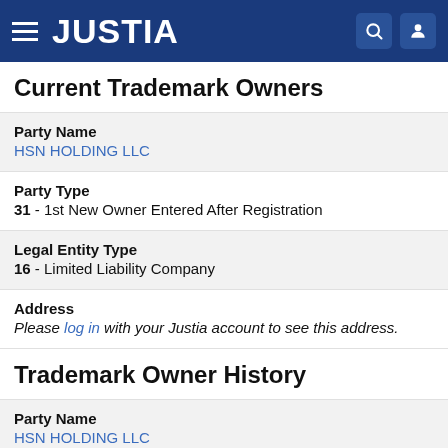JUSTIA
Current Trademark Owners
Party Name
HSN HOLDING LLC
Party Type
31 - 1st New Owner Entered After Registration
Legal Entity Type
16 - Limited Liability Company
Address
Please log in with your Justia account to see this address.
Trademark Owner History
Party Name
HSN HOLDING LLC